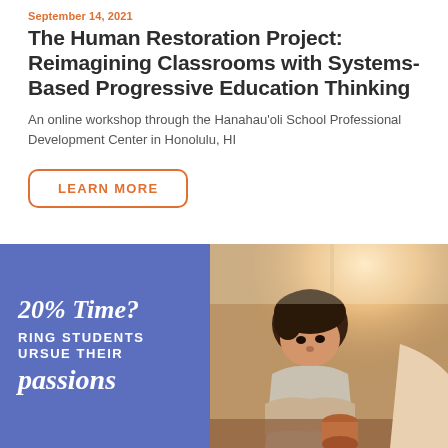September 14, 2021
The Human Restoration Project: Reimagining Classrooms with Systems-Based Progressive Education Thinking
An online workshop through the Hanahau'oli School Professional Development Center in Honolulu, HI
LEARN MORE
[Figure (illustration): Split panel image: left side is a blue/purple panel with white italic text reading '20% Time? BRING STUDENTS PURSUE THEIR passions'; right side is a photo of a young boy focused on a hands-on activity at a desk, with warm sunlight behind him.]